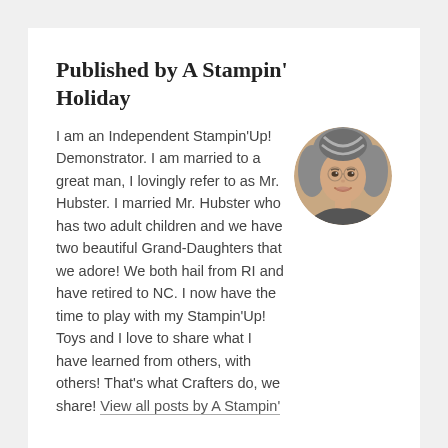Published by A Stampin' Holiday
[Figure (photo): Circular avatar photo of a smiling woman with gray hair]
I am an Independent Stampin'Up! Demonstrator. I am married to a great man, I lovingly refer to as Mr. Hubster. I married Mr. Hubster who has two adult children and we have two beautiful Grand-Daughters that we adore! We both hail from RI and have retired to NC. I now have the time to play with my Stampin'Up! Toys and I love to share what I have learned from others, with others! That's what Crafters do, we share! View all posts by A Stampin'